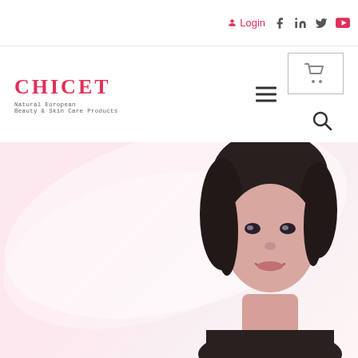Login
[Figure (logo): CHICET logo with tagline 'Natural European Beauty & Skin Care Products']
[Figure (photo): Smiling woman with dark hair and light skin wearing a black top, serving as hero image for beauty/skincare brand website]